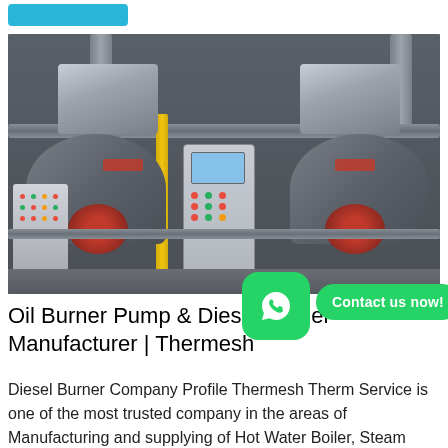[Figure (photo): Industrial boiler room showing two horizontal fire-tube boilers with red burners, a central control panel with screen and buttons, piping systems including yellow gas pipes, and brand logos. Chinese manufacturer equipment.]
Oil Burner Pump & Diesel Burner Manufacturer | Thermesh
Diesel Burner Company Profile Thermesh Therm Service is one of the most trusted company in the areas of Manufacturing and supplying of Hot Water Boiler, Steam